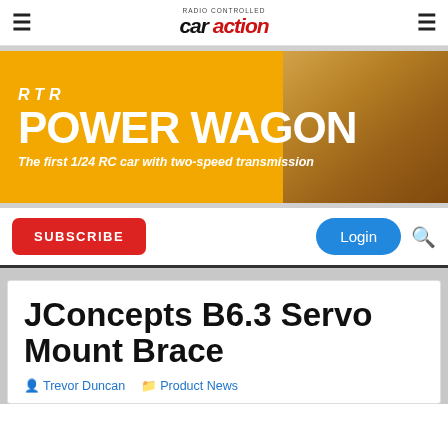RC Car Action
[Figure (illustration): RTR Power Wagon advertisement banner. Orange/yellow background with white bold text reading 'RTR POWER WAGON - The first 1/24 RC car with two-speed transmission'. Right side has a photo of a rock/dirt terrain.]
SUBSCRIBE
Login
JConcepts B6.3 Servo Mount Brace
Trevor Duncan   Product News